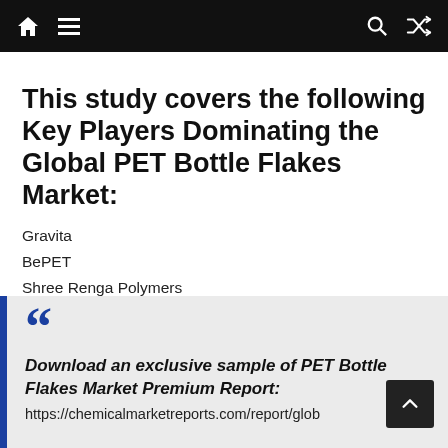Navigation bar with home, menu, search, and shuffle icons
This study covers the following Key Players Dominating the Global PET Bottle Flakes Market:
Gravita
BePET
Shree Renga Polymers
Sri Chakra Polyplast India Pvt
JFC
Download an exclusive sample of PET Bottle Flakes Market Premium Report: https://chemicalmarketreports.com/report/glob